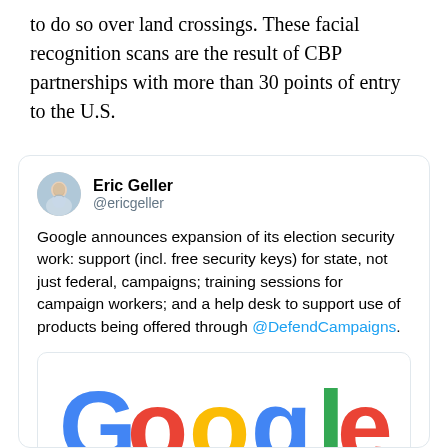to do so over land crossings. These facial recognition scans are the result of CBP partnerships with more than 30 points of entry to the U.S.
[Figure (screenshot): Embedded tweet by @ericgeller (Eric Geller) about Google announcing expansion of its election security work, including support with free security keys for state and federal campaigns, training sessions, and a help desk via @DefendCampaigns. The tweet contains an embedded Google logo image.]